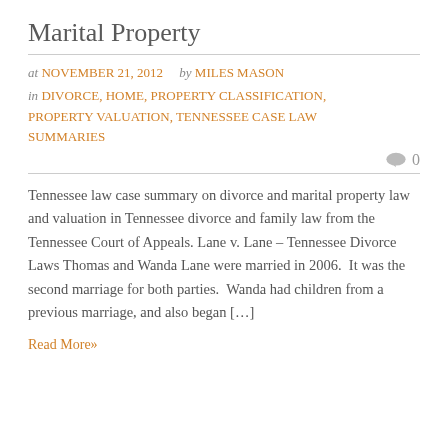Marital Property
at NOVEMBER 21, 2012   by MILES MASON
in DIVORCE, HOME, PROPERTY CLASSIFICATION, PROPERTY VALUATION, TENNESSEE CASE LAW SUMMARIES
0
Tennessee law case summary on divorce and marital property law and valuation in Tennessee divorce and family law from the Tennessee Court of Appeals. Lane v. Lane – Tennessee Divorce Laws Thomas and Wanda Lane were married in 2006.  It was the second marriage for both parties.  Wanda had children from a previous marriage, and also began […]
Read More»